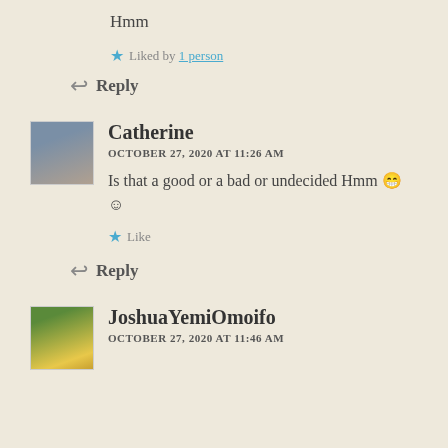Hmm
★ Liked by 1 person
↩ Reply
Catherine
OCTOBER 27, 2020 AT 11:26 AM
Is that a good or a bad or undecided Hmm 😁 ☺
★ Like
↩ Reply
JoshuaYemiOmoifo
OCTOBER 27, 2020 AT 11:46 AM